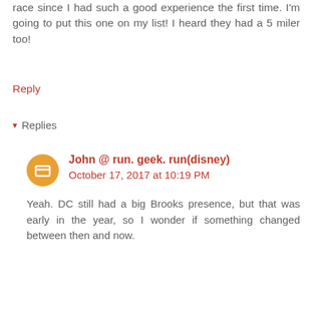race since I had such a good experience the first time. I'm going to put this one on my list! I heard they had a 5 miler too!
Reply
▾ Replies
John @ run. geek. run(disney)
October 17, 2017 at 10:19 PM
Yeah. DC still had a big Brooks presence, but that was early in the year, so I wonder if something changed between then and now.